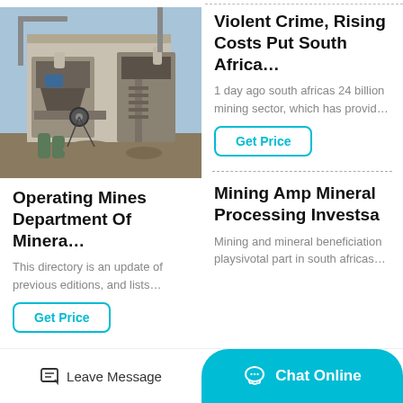[Figure (photo): Industrial mining equipment / crusher machinery at an outdoor mining site with metal scaffolding and tanks]
Violent Crime, Rising Costs Put South Africa…
1 day ago south africas 24 billion mining sector, which has provid…
Get Price
Operating Mines Department Of Minera…
This directory is an update of previous editions, and lists…
Get Price
Mining Amp Mineral Processing Investsa
Mining and mineral beneficiation playsivotal part in south africas…
Leave Message   Chat Online